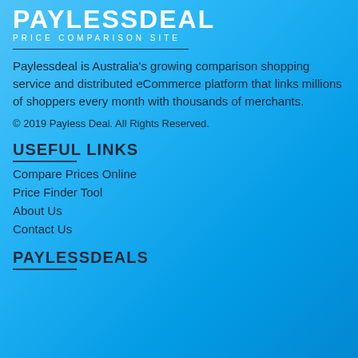PAYLESSDEAL Price Comparison Site
Paylessdeal is Australia's growing comparison shopping service and distributed eCommerce platform that links millions of shoppers every month with thousands of merchants.
© 2019 Payless Deal. All Rights Reserved.
USEFUL LINKS
Compare Prices Online
Price Finder Tool
About Us
Contact Us
PAYLESSDEALS